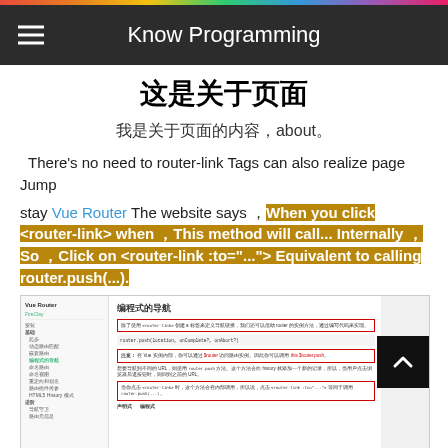Know Programming
这是关于页面
我是关于页面的内容，about。
There's no need to router-link Tags can also realize page Jump
stay Vue Router The website says , When you click <router-link> when , This method will call... Internally , So , Click on <router-link :to="..."> Equivalent to calling router.push(...).
[Figure (screenshot): Screenshot of Vue Router documentation page showing 编程式的导航 (Programmatic Navigation) section with code examples and red-bordered boxes highlighting key information]